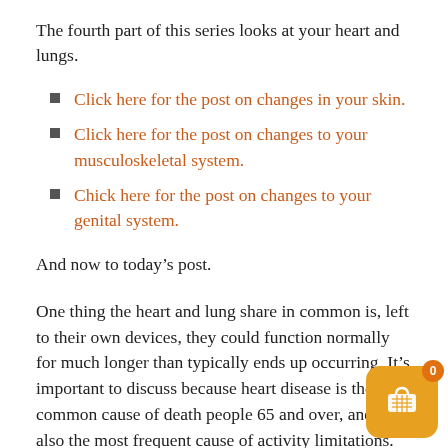The fourth part of this series looks at your heart and lungs.
Click here for the post on changes in your skin.
Click here for the post on changes to your musculoskeletal system.
Chick here for the post on changes to your genital system.
And now to today’s post.
One thing the heart and lung share in common is, left to their own devices, they could function normally for much longer than typically ends up occurring. It’s important to discuss because heart disease is the most common cause of death people 65 and over, and it is also the most frequent cause of activity limitations. Let’s quic…